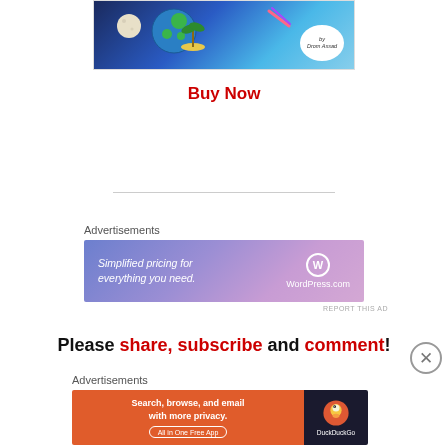[Figure (illustration): Partial book cover illustration with globe/earth, moon, palm tree island, and meteor/comet on dark blue background. Author name bubble reads 'by Drom Assad']
Buy Now
[Figure (advertisement): WordPress.com advertisement banner with gradient purple/pink background. Text: 'Simplified pricing for everything you need.' with WordPress.com logo on right.]
REPORT THIS AD
Please share, subscribe and comment!
Advertisements
[Figure (advertisement): DuckDuckGo advertisement. Left side orange background: 'Search, browse, and email with more privacy. All in One Free App'. Right side dark background with DuckDuckGo duck logo and name.]
REPORT THIS AD